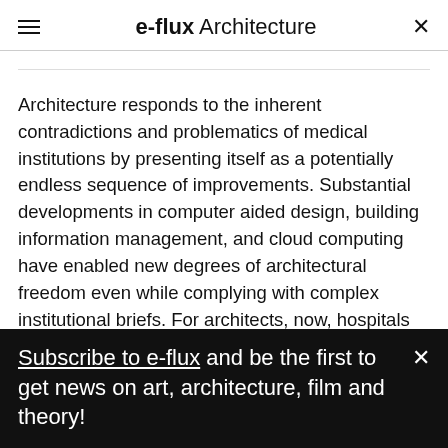e-flux Architecture
Architecture responds to the inherent contradictions and problematics of medical institutions by presenting itself as a potentially endless sequence of improvements. Substantial developments in computer aided design, building information management, and cloud computing have enabled new degrees of architectural freedom even while complying with complex institutional briefs. For architects, now, hospitals are interesting
Subscribe to e-flux and be the first to get news on art, architecture, film and theory!